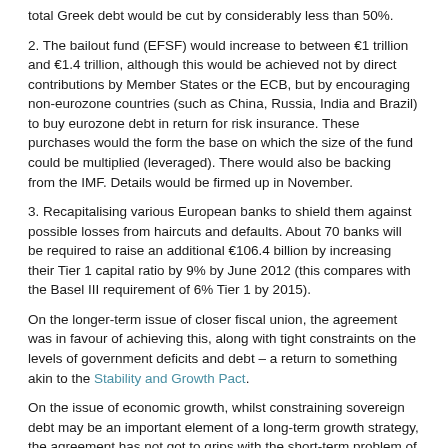total Greek debt would be cut by considerably less than 50%.
2. The bailout fund (EFSF) would increase to between €1 trillion and €1.4 trillion, although this would be achieved not by direct contributions by Member States or the ECB, but by encouraging non-eurozone countries (such as China, Russia, India and Brazil) to buy eurozone debt in return for risk insurance. These purchases would the form the base on which the size of the fund could be multiplied (leveraged). There would also be backing from the IMF. Details would be firmed up in November.
3. Recapitalising various European banks to shield them against possible losses from haircuts and defaults. About 70 banks will be required to raise an additional €106.4 billion by increasing their Tier 1 capital ratio by 9% by June 2012 (this compares with the Basel III requirement of 6% Tier 1 by 2015).
On the longer-term issue of closer fiscal union, the agreement was in favour of achieving this, along with tight constraints on the levels of government deficits and debt – a return to something akin to the Stability and Growth Pact.
On the issue of economic growth, whilst constraining sovereign debt may be an important element of a long-term growth strategy, the agreement has not got to grips with the short-term problem of a lack of aggregate demand – unless, of course, the relief in markets at seeing a solution to the debt problem may boost business and consumer confidence. This, in turn, may provide the boost to aggregate demand that has been sadly lacking over the past few months.